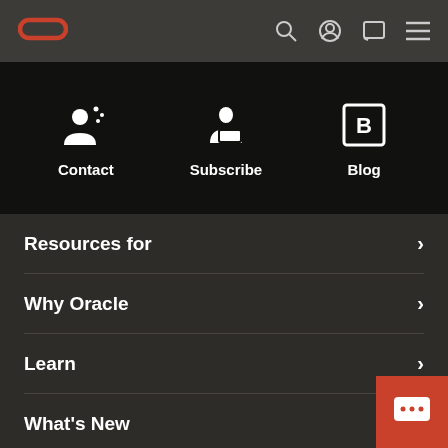[Figure (logo): Oracle logo - red rounded rectangle shape in top navigation bar]
[Figure (screenshot): Top navigation bar with search, account, chat, and menu icons]
[Figure (infographic): Dark navigation section with Contact, Subscribe, and Blog icons and labels]
Resources for
Why Oracle
Learn
What's New
Contact Us
[Figure (infographic): Orange chat button with ellipsis speech bubble icon in bottom right corner]